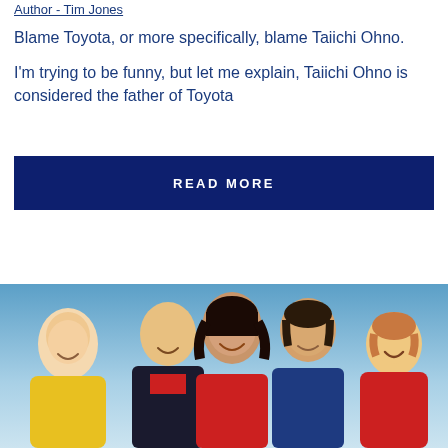Author - Tim Jones
Blame Toyota, or more specifically, blame Taiichi Ohno.
I'm trying to be funny, but let me explain, Taiichi Ohno is considered the father of Toyota
READ MORE
[Figure (photo): Group photo of five people (four children and one adult woman) smiling against a blue gradient background. From left to right: young child in yellow jacket, older boy in red and black jacket, woman with dark hair, teenage boy in blue jacket, toddler in red jacket.]